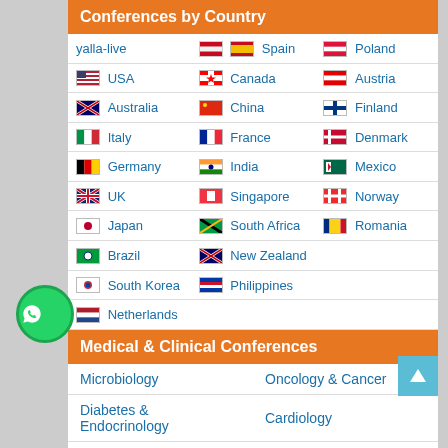Conferences by Country
| yalla-live | Spain | Poland |
| USA | Canada | Austria |
| Australia | China | Finland |
| Italy | France | Denmark |
| Germany | India | Mexico |
| UK | Singapore | Norway |
| Japan | South Africa | Romania |
| Brazil | New Zealand |  |
| South Korea | Philippines |  |
| Netherlands |  |  |
Medical & Clinical Conferences
| Microbiology | Oncology & Cancer |
| Diabetes & Endocrinology | Cardiology |
| Nursing | Dentistry |